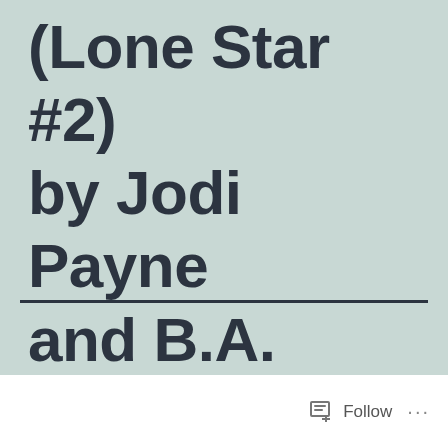(Lone Star #2) by Jodi Payne and B.A. Tortuga
Follow ...